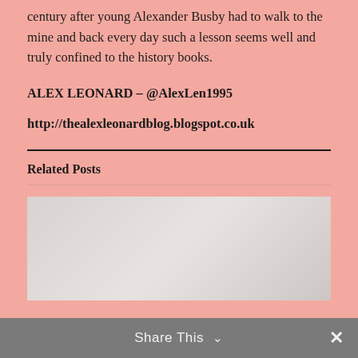century after young Alexander Busby had to walk to the mine and back every day such a lesson seems well and truly confined to the history books.
ALEX LEONARD – @AlexLen1995
http://thealexleonardblog.blogspot.co.uk
Related Posts
[Figure (photo): A light gray placeholder image area representing a related post thumbnail]
Share This ∨  ✕